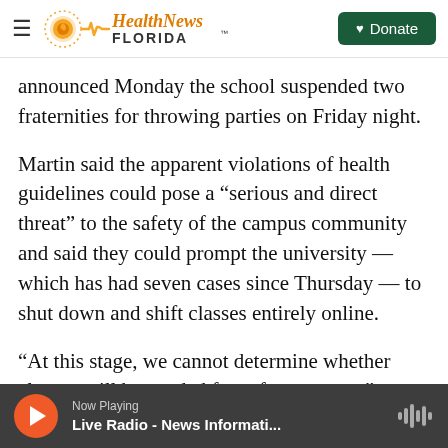Health News Florida — Donate
announced Monday the school suspended two fraternities for throwing parties on Friday night.
Martin said the apparent violations of health guidelines could pose a “serious and direct threat” to the safety of the campus community and said they could prompt the university — which has had seven cases since Thursday — to shut down and shift classes entirely online.
“At this stage, we cannot determine whether closure will be needed for safety reasons,” Martin said. “Be assured, however, that there will be
Now Playing — Live Radio - News Informati...